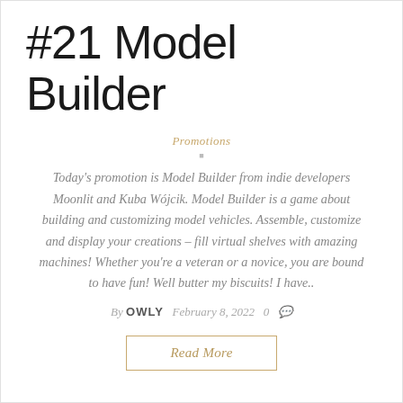#21 Model Builder
Promotions
Today's promotion is Model Builder from indie developers Moonlit and Kuba Wójcik. Model Builder is a game about building and customizing model vehicles. Assemble, customize and display your creations – fill virtual shelves with amazing machines! Whether you're a veteran or a novice, you are bound to have fun! Well butter my biscuits! I have..
By OWLY   February 8, 2022   0
Read More